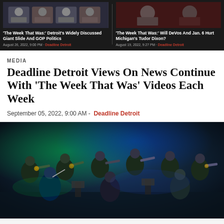[Figure (screenshot): Dark banner with two video thumbnail cards side by side. Left card shows 'The Week That Was: Detroit's Widely Discussed Giant Slide And GOP Politics', August 26, 2022, 9:00 PM, Deadline Detroit. Right card shows 'The Week That Was: Will DeVos And Jan. 6 Hurt Michigan's Tudor Dixon?', August 19, 2022, 9:27 PM, Deadline Detroit.]
MEDIA
Deadline Detroit Views On News Continue With 'The Week That Was' Videos Each Week
September 05, 2022, 9:00 AM -  Deadline Detroit
[Figure (photo): A jazz band performing on stage, with multiple musicians playing brass instruments including trombones and trumpets. A conductor is visible in the foreground. Stage lighting with green and blue hues illuminates the performers.]